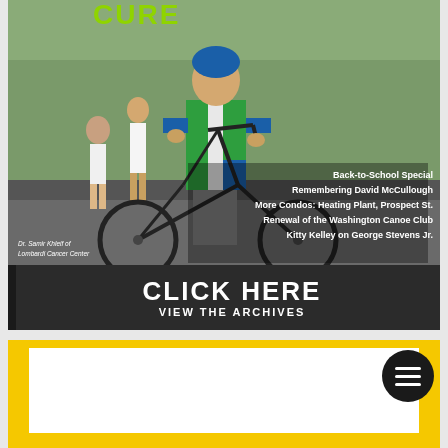[Figure (photo): Magazine cover showing a man in a cycling jersey holding a bicycle, with text overlays listing articles: Back-to-School Special, Remembering David McCullough, More Condos: Heating Plant Prospect St., Renewal of the Washington Canoe Club, Kitty Kelley on George Stevens Jr. A caption reads Dr. Samir Khleif of Lombardi Cancer Center. The magazine logo CURE appears at the top. Below the photo is a dark bar with CLICK HERE / VIEW THE ARCHIVES in bold white text.]
[Figure (other): Yellow bordered box with white inner area, partially visible. A black circular hamburger menu icon is overlaid on the top-right corner.]